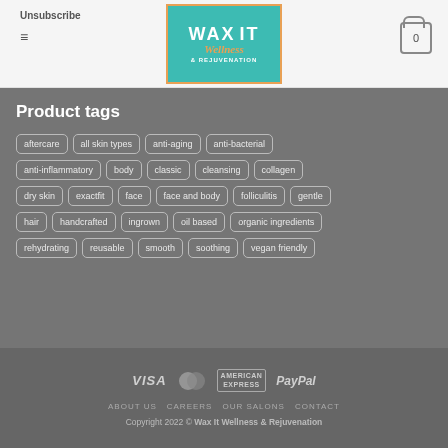Unsubscribe | Wax It Wellness & Rejuvenation | Cart: 0
Product tags
aftercare
all skin types
anti-aging
anti-bacterial
anti-inflammatory
body
classic
cleansing
collagen
dry skin
exactfit
face
face and body
folliculitis
gentle
hair
handcrafted
ingrown
oil based
organic ingredients
rehydrating
reusable
smooth
soothing
vegan friendly
ABOUT US  CAREERS  OUR SALONS  CONTACT  Copyright 2022 © Wax It Wellness & Rejuvenation